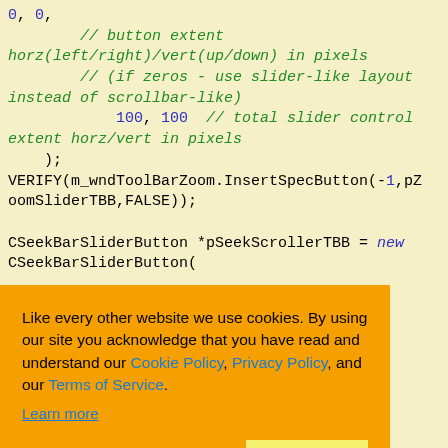0, 0,
// button extent horz(left/right)/vert(up/down) in pixels
// (if zeros - use slider-like layout instead of scrollbar-like)
100, 100  // total slider control extent horz/vert in pixels
);
VERIFY(m_wndToolBarZoom.InsertSpecButton(-1,pZoomSliderTBB,FALSE));

CSeekBarSliderButton *pSeekScrollerTBB = new CSeekBarSliderButton(
Cookie consent overlay: Like every other website we use cookies. By using our site you acknowledge that you have read and understand our Cookie Policy, Privacy Policy, and our Terms of Service. Learn more. Buttons: Ask me later, Decline, Allow cookies